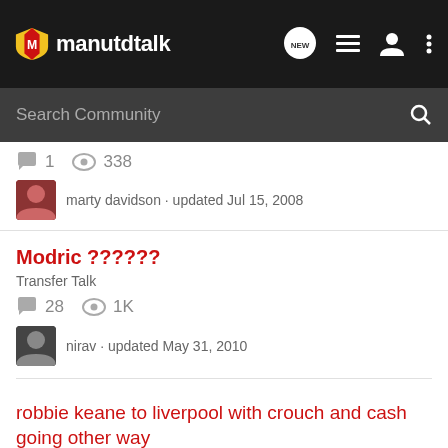manutdtalk
Search Community
1  338
marty davidson · updated Jul 15, 2008
Modric ??????
Transfer Talk
28  1K
nirav · updated May 31, 2010
robbie keane to liverpool with crouch and cash going other way
Football Banter